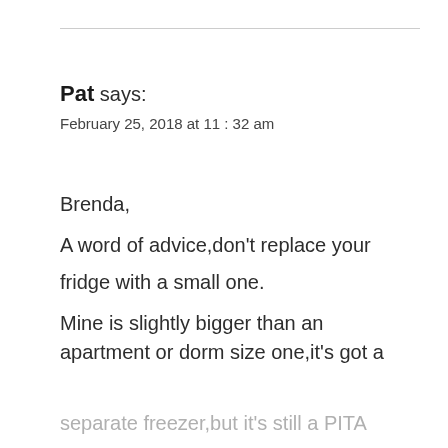Pat says:
February 25, 2018 at 11:32 am
Brenda,
A word of advice,don’t replace your fridge with a small one.
Mine is slightly bigger than an apartment or dorm size one,it’s got a
separate freezer,but it’s still a PITA